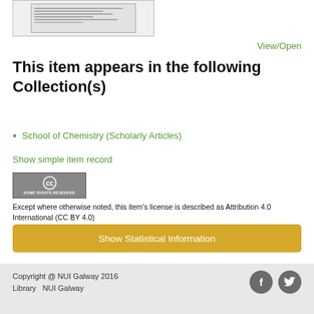[Figure (other): Thumbnail preview of a document page]
View/Open
This item appears in the following Collection(s)
School of Chemistry (Scholarly Articles)
Show simple item record
[Figure (logo): Creative Commons Some Rights Reserved badge]
Except where otherwise noted, this item's license is described as Attribution 4.0 International (CC BY 4.0)
Show Statistical Information
Copyright @ NUI Galway 2016
Library   NUI Galway